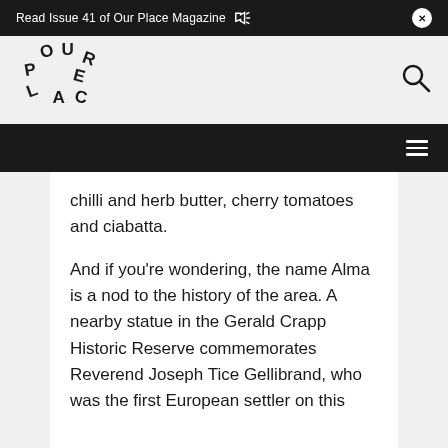Read Issue 41 of Our Place Magazine
[Figure (logo): Our Place magazine logo with letters arranged in a circular/scattered typographic pattern]
chilli and herb butter, cherry tomatoes and ciabatta.
And if you're wondering, the name Alma is a nod to the history of the area. A nearby statue in the Gerald Crapp Historic Reserve commemorates Reverend Joseph Tice Gellibrand, who was the first European settler on this